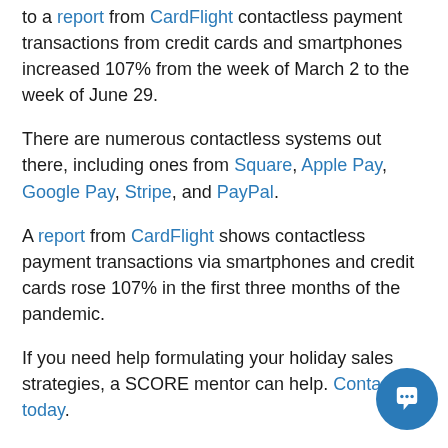to a report from CardFlight contactless payment transactions from credit cards and smartphones increased 107% from the week of March 2 to the week of June 29.
There are numerous contactless systems out there, including ones from Square, Apple Pay, Google Pay, Stripe, and PayPal.
A report from CardFlight shows contactless payment transactions via smartphones and credit cards rose 107% in the first three months of the pandemic.
If you need help formulating your holiday sales strategies, a SCORE mentor can help. Contact a mentor today.